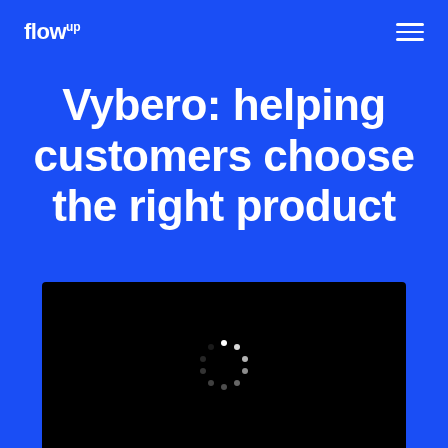flowup
Vybero: helping customers choose the right product
[Figure (screenshot): Black video player area with a white loading spinner (dotted circle) centered on a black background]